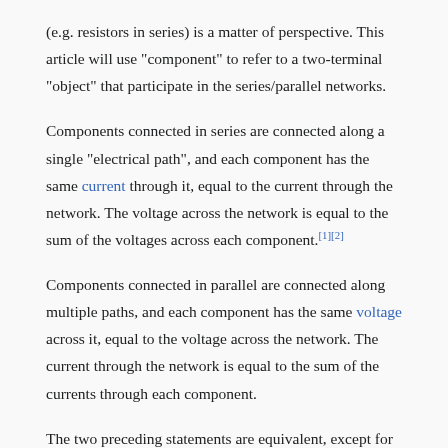(e.g. resistors in series) is a matter of perspective. This article will use "component" to refer to a two-terminal "object" that participate in the series/parallel networks.
Components connected in series are connected along a single "electrical path", and each component has the same current through it, equal to the current through the network. The voltage across the network is equal to the sum of the voltages across each component.[1][2]
Components connected in parallel are connected along multiple paths, and each component has the same voltage across it, equal to the voltage across the network. The current through the network is equal to the sum of the currents through each component.
The two preceding statements are equivalent, except for exchanging the role of voltage and current.
A circuit composed solely of components connected in series is known as a series circuit; likewise, one connected completely in parallel is